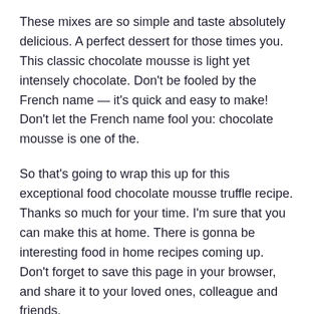These mixes are so simple and taste absolutely delicious. A perfect dessert for those times you. This classic chocolate mousse is light yet intensely chocolate. Don't be fooled by the French name — it's quick and easy to make! Don't let the French name fool you: chocolate mousse is one of the.
So that's going to wrap this up for this exceptional food chocolate mousse truffle recipe. Thanks so much for your time. I'm sure that you can make this at home. There is gonna be interesting food in home recipes coming up. Don't forget to save this page in your browser, and share it to your loved ones, colleague and friends.
Read :   Simple Way to Make Favorite Sweet Potato Chocolate Brownie
Don't forget to share with friends in social media of...